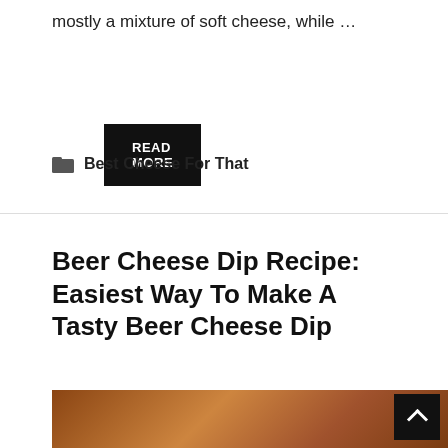mostly a mixture of soft cheese, while …
READ MORE
Best Cheese For That
Beer Cheese Dip Recipe: Easiest Way To Make A Tasty Beer Cheese Dip
[Figure (photo): Photo of beer cheese dip in a pan on a wooden surface with a cloth, partially visible at the bottom of the page]